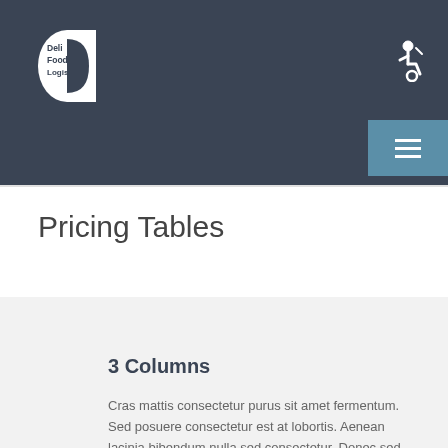Deli Food Logistics
Pricing Tables
3 Columns
Cras mattis consectetur purus sit amet fermentum. Sed posuere consectetur est at lobortis. Aenean lacinia bibendum nulla sed consectetur. Donec sed odio dui. Vivamus sagittis lacus vel augue laoreet rutrum faucibus dui luctus. Cum sociis natoque penatibus et magnis dis parturient montes, nascetur ridiculus mus.